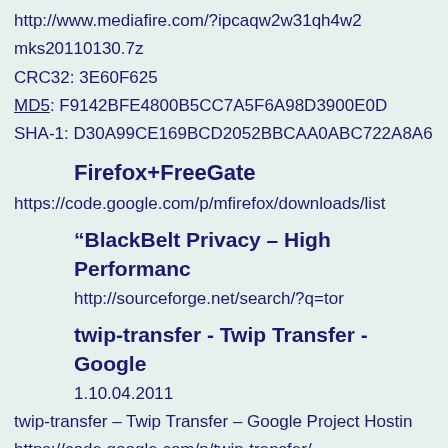http://www.mediafire.com/?ipcaqw2w31qh4w2
mks20110130.7z
CRC32: 3E60F625
MD5: F9142BFE4800B5CC7A5F6A98D3900E0D
SHA-1: D30A99CE169BCD2052BBCAA0ABC722A8A6
Firefox+FreeGate
https://code.google.com/p/mfirefox/downloads/list
“BlackBelt Privacy – High Performanc
http://sourceforge.net/search/?q=tor
twip-transfer - Twip Transfer - Google
1.10.04.2011
twip-transfer – Twip Transfer – Google Project Hostin
https://code.google.com/p/twip-transfer/